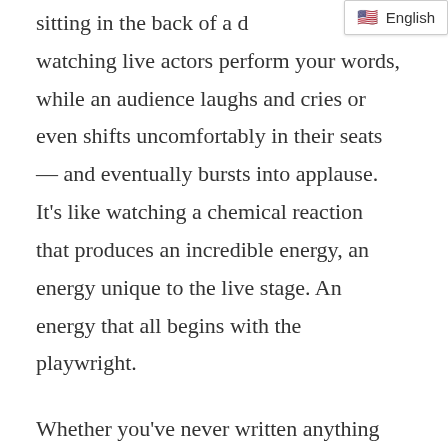[Figure (other): Language selector badge showing English with US flag emoji]
sitting in the back of a d watching live actors perform your words, while an audience laughs and cries or even shifts uncomfortably in their seats — and eventually bursts into applause. It's like watching a chemical reaction that produces an incredible energy, an energy unique to the live stage. An energy that all begins with the playwright.

Whether you've never written anything before or you're experienced in another kind of writing or you're a playwright looking to sharpen your skills,